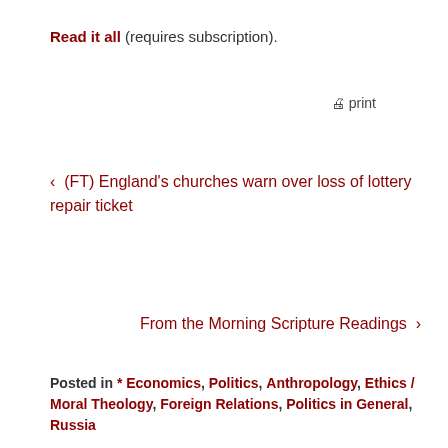Read it all (requires subscription).
print
‹  (FT) England's churches warn over loss of lottery repair ticket
From the Morning Scripture Readings  ›
Posted in * Economics, Politics, Anthropology, Ethics / Moral Theology, Foreign Relations, Politics in General, Russia
Categories Exhaustive
Categories Exhaustive
Select Category
T19 Resources
Contact T19
T19 Resource Links